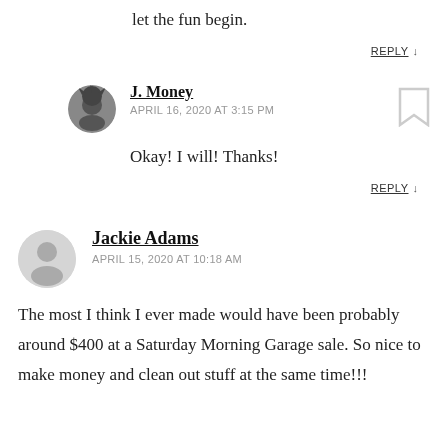let the fun begin.
REPLY ↓
J. Money
APRIL 16, 2020 AT 3:15 PM
Okay! I will! Thanks!
REPLY ↓
Jackie Adams
APRIL 15, 2020 AT 10:18 AM
The most I think I ever made would have been probably around $400 at a Saturday Morning Garage sale. So nice to make money and clean out stuff at the same time!!!